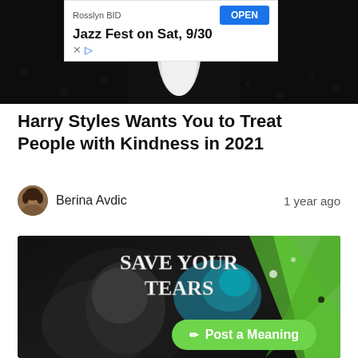[Figure (screenshot): Advertisement banner: Rosslyn BID, Jazz Fest on Sat, 9/30 with OPEN button]
[Figure (photo): Concert photo with performer on dark stage with white outfit and dots of light]
Harry Styles Wants You to Treat People with Kindness in 2021
Berina Avdic    1 year ago
[Figure (illustration): Digital art illustration with text SAVE YOUR TEARS, stylized figure with teal and green dramatic background]
Post a Meaning